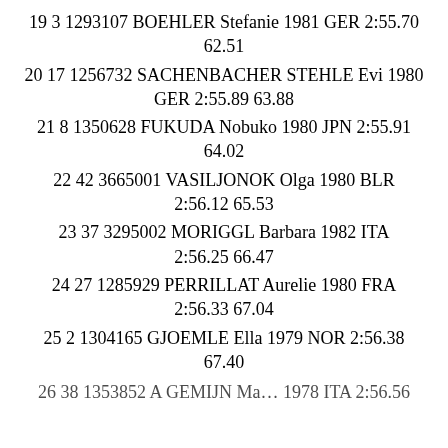19 3 1293107 BOEHLER Stefanie 1981 GER 2:55.70 62.51
20 17 1256732 SACHENBACHER STEHLE Evi 1980 GER 2:55.89 63.88
21 8 1350628 FUKUDA Nobuko 1980 JPN 2:55.91 64.02
22 42 3665001 VASILJONOK Olga 1980 BLR 2:56.12 65.53
23 37 3295002 MORIGGL Barbara 1982 ITA 2:56.25 66.47
24 27 1285929 PERRILLAT Aurelie 1980 FRA 2:56.33 67.04
25 2 1304165 GJOEMLE Ella 1979 NOR 2:56.38 67.40
26 38 1353852 A GEMIJN Marsha 1978 ITA 2:56.56